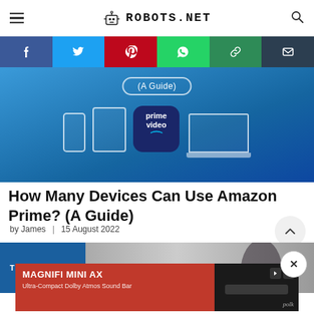ROBOTS.NET
[Figure (infographic): Social share buttons: Facebook, Twitter, Pinterest, WhatsApp, Copy Link, Email]
[Figure (illustration): Amazon Prime Video hero image showing multiple devices (phone, tablet, laptop) and Prime Video icon on blue background, with text '(A Guide)' bubble]
How Many Devices Can Use Amazon Prime? (A Guide)
by James  |  15 August 2022
[Figure (photo): Person using device with TECHNOLOGY category label overlay]
[Figure (infographic): Advertisement banner: MAGNIFI MINI AX - Ultra-Compact Dolby Atmos Sound Bar by polk]